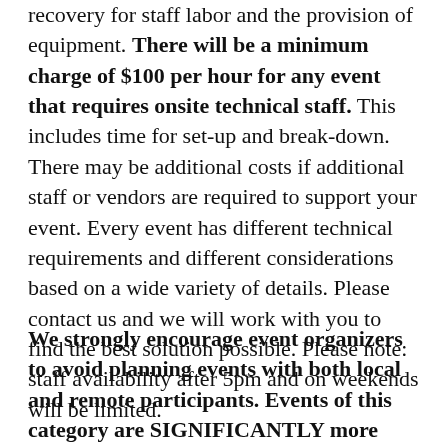recovery for staff labor and the provision of equipment. There will be a minimum charge of $100 per hour for any event that requires onsite technical staff. This includes time for set-up and break-down. There may be additional costs if additional staff or vendors are required to support your event. Every event has different technical requirements and different considerations based on a wide variety of details. Please contact us and we will work with you to find the best solution possible. Please note: staff availability after 5pm and on weekends will be limited.
We strongly encourage event organizers to avoid planning events with both local and remote participants. Events of this category are SIGNIFICANTLY more complex and require